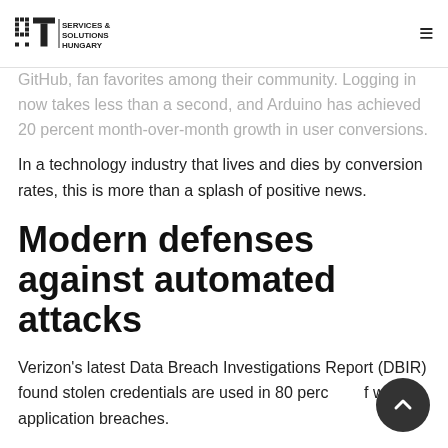IT Services & Solutions Hungary
GitHub, fan favorites among their community. Logging in now takes less than a second, and Arduino has achieved 20 percent month-over-month growth in user conversions.
In a technology industry that lives and dies by conversion rates, this is more than a splash of positive news.
Modern defenses against automated attacks
Verizon's latest Data Breach Investigations Report (DBIR) found stolen credentials are used in 80 percent of web application breaches.